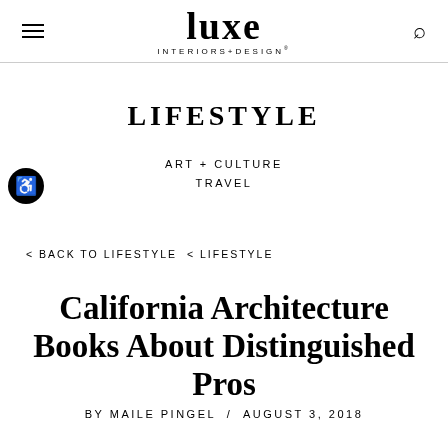luxe INTERIORS+DESIGN
LIFESTYLE
ART + CULTURE
TRAVEL
< BACK TO LIFESTYLE < LIFESTYLE
California Architecture Books About Distinguished Pros
BY MAILE PINGEL / AUGUST 3, 2018